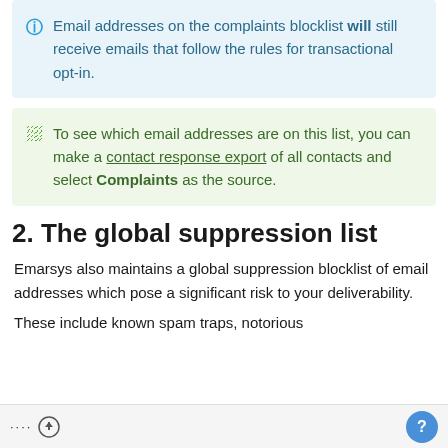Email addresses on the complaints blocklist will still receive emails that follow the rules for transactional opt-in.
To see which email addresses are on this list, you can make a contact response export of all contacts and select Complaints as the source.
2. The global suppression list
Emarsys also maintains a global suppression blocklist of email addresses which pose a significant risk to your deliverability.
These include known spam traps, notorious
···  ↑  ?